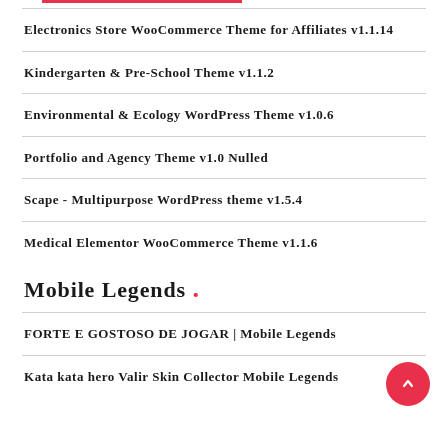Electronics Store WooCommerce Theme for Affiliates v1.1.14
Kindergarten & Pre-School Theme v1.1.2
Environmental & Ecology WordPress Theme v1.0.6
Portfolio and Agency Theme v1.0 Nulled
Scape - Multipurpose WordPress theme v1.5.4
Medical Elementor WooCommerce Theme v1.1.6
Mobile Legends .
FORTE E GOSTOSO DE JOGAR | Mobile Legends
Kata kata hero Valir Skin Collector Mobile Legends